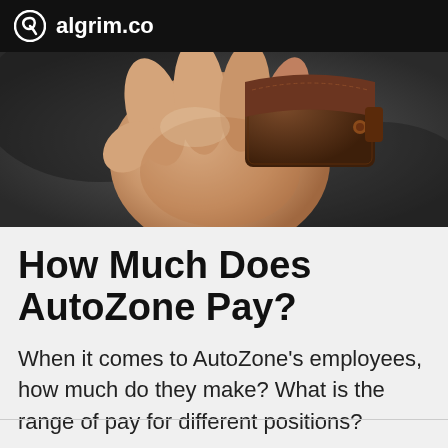algrim.co
[Figure (photo): A hand holding a brown leather wallet against a dark blurred background]
How Much Does AutoZone Pay?
When it comes to AutoZone's employees, how much do they make? What is the range of pay for different positions?